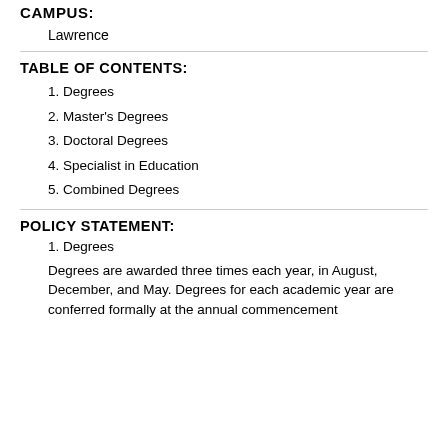CAMPUS:
Lawrence
TABLE OF CONTENTS:
1. Degrees
2. Master's Degrees
3. Doctoral Degrees
4. Specialist in Education
5. Combined Degrees
POLICY STATEMENT:
1. Degrees
Degrees are awarded three times each year, in August, December, and May. Degrees for each academic year are conferred formally at the annual commencement